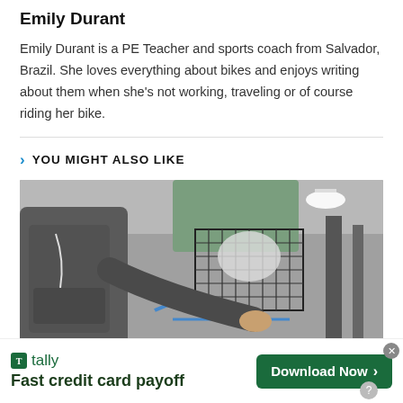Emily Durant
Emily Durant is a PE Teacher and sports coach from Salvador, Brazil. She loves everything about bikes and enjoys writing about them when she's not working, traveling or of course riding her bike.
YOU MIGHT ALSO LIKE
[Figure (photo): Photo of a person in a gray hoodie leaning over a bicycle with a wire basket, in what appears to be a bike shop or transit area]
[Figure (infographic): Advertisement banner for Tally app — Fast credit card payoff, with Download Now button]